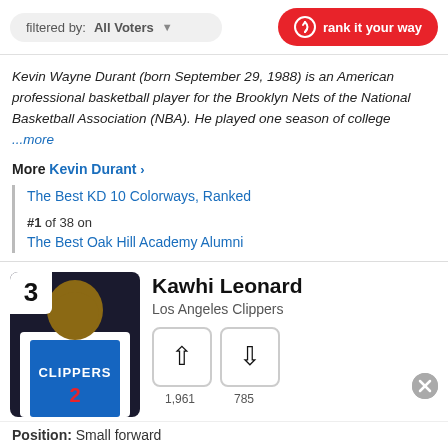filtered by: All Voters | rank it your way
Kevin Wayne Durant (born September 29, 1988) is an American professional basketball player for the Brooklyn Nets of the National Basketball Association (NBA). He played one season of college ...more
More Kevin Durant >
The Best KD 10 Colorways, Ranked
#1 of 38 on The Best Oak Hill Academy Alumni
3 Kawhi Leonard, Los Angeles Clippers
Up votes: 1,961  Down votes: 785
Position: Small forward